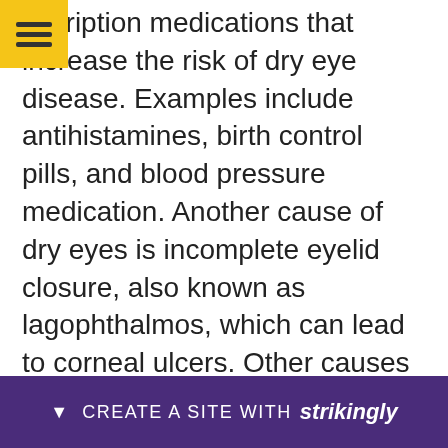escription medications that increase the risk of dry eye disease. Examples include antihistamines, birth control pills, and blood pressure medication. Another cause of dry eyes is incomplete eyelid closure, also known as lagophthalmos, which can lead to corneal ulcers. Other causes of lagophthalmos include nerve damage, infection, and natural aging.There are several ways to treat dry eye disease, and the most common is to moisturize your eyes using artificial tears.

There are many moisturizing eye products you can purchase at the store. If dry eye is causing severe... ek